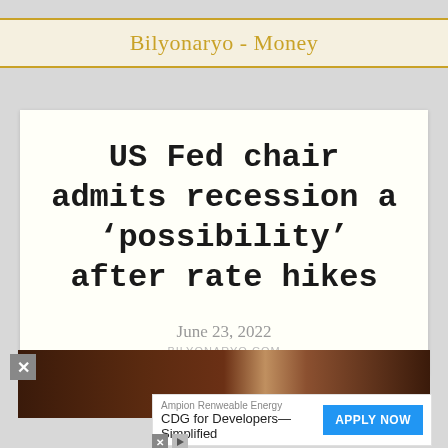Bilyonaryo - Money
US Fed chair admits recession a ‘possibility’ after rate hikes
June 23, 2022
BILYONARYO.COM
[Figure (photo): Dark brown image strip, appears to be a photo of wooden paneling or interior setting]
Ampion Renweable Energy
CDG for Developers—Simplified
APPLY NOW